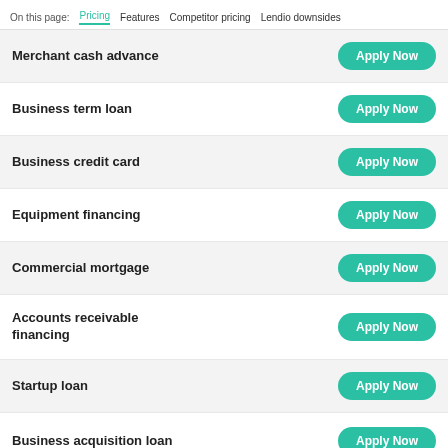On this page: Pricing | Features | Competitor pricing | Lendio downsides
Merchant cash advance — Apply Now
Business term loan — Apply Now
Business credit card — Apply Now
Equipment financing — Apply Now
Commercial mortgage — Apply Now
Accounts receivable financing — Apply Now
Startup loan — Apply Now
Business acquisition loan — Apply Now